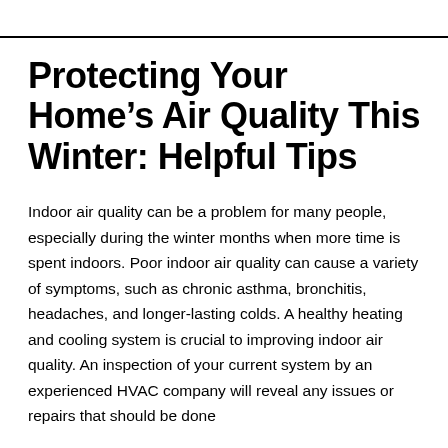Protecting Your Home’s Air Quality This Winter: Helpful Tips
Indoor air quality can be a problem for many people, especially during the winter months when more time is spent indoors. Poor indoor air quality can cause a variety of symptoms, such as chronic asthma, bronchitis, headaches, and longer-lasting colds. A healthy heating and cooling system is crucial to improving indoor air quality. An inspection of your current system by an experienced HVAC company will reveal any issues or repairs that should be done